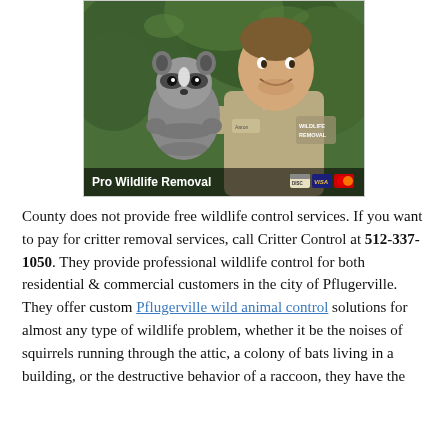[Figure (photo): A man in a khaki wildlife removal uniform holding a raccoon outdoors with green foliage in background. Text overlay reads 'Pro Wildlife Removal' with credit card logos.]
County does not provide free wildlife control services. If you want to pay for critter removal services, call Critter Control at 512-337-1050. They provide professional wildlife control for both residential & commercial customers in the city of Pflugerville. They offer custom Pflugerville wild animal control solutions for almost any type of wildlife problem, whether it be the noises of squirrels running through the attic, a colony of bats living in a building, or the destructive behavior of a raccoon, they have the